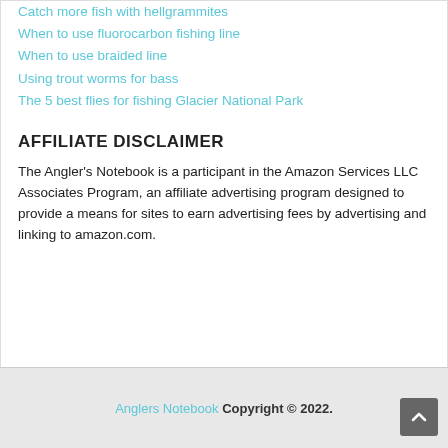Catch more fish with hellgrammites
When to use fluorocarbon fishing line
When to use braided line
Using trout worms for bass
The 5 best flies for fishing Glacier National Park
AFFILIATE DISCLAIMER
The Angler's Notebook is a participant in the Amazon Services LLC Associates Program, an affiliate advertising program designed to provide a means for sites to earn advertising fees by advertising and linking to amazon.com.
Anglers Notebook Copyright © 2022.